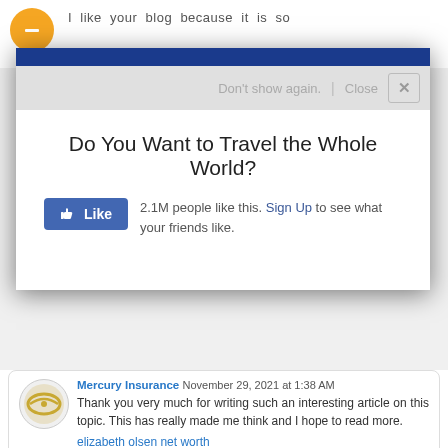[Figure (screenshot): Top of blog comment section showing orange avatar with minus icon and partial text 'I like your blog because it is so']
[Figure (screenshot): Popup overlay with dark blue top bar, controls row with 'Don't show again.', 'Close' and X button. Body shows 'Do You Want to Travel the Whole World?' with Facebook Like button showing 2.1M people like this and Sign Up link.]
Mercury Insurance  November 29, 2021 at 1:38 AM
Thank you very much for writing such an interesting article on this topic. This has really made me think and I hope to read more.
elizabeth olsen net worth
Reply
Mercury Insurance  November 29, 2021 at 1:39 AM
First, I appreciate your blog; I have read your article carefully. Your content is very valuable